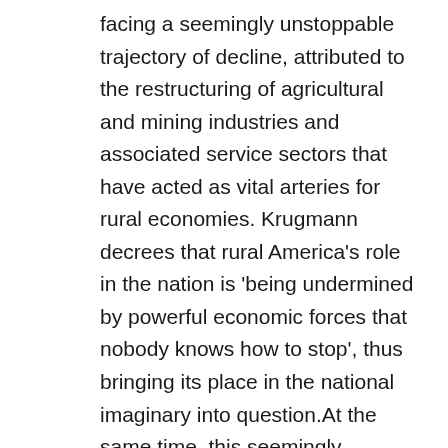facing a seemingly unstoppable trajectory of decline, attributed to the restructuring of agricultural and mining industries and associated service sectors that have acted as vital arteries for rural economies. Krugmann decrees that rural America's role in the nation is 'being undermined by powerful economic forces that nobody knows how to stop', thus bringing its place in the national imaginary into question.At the same time, this seemingly irreversible story of decline is being challenged by rural communities. One such example is the Delta town of Clarksdale, where many of the issues that Krugmann raises around economic decline and the ensuing redundancy of many rural centres are resonant in John Henshall's new publication Downtown Revitalisation and Delta Blues in